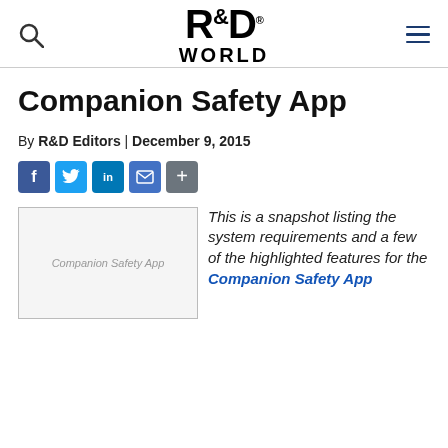R&D WORLD
Companion Safety App
By R&D Editors | December 9, 2015
[Figure (other): Social sharing buttons: Facebook, Twitter, LinkedIn, Email, Share]
[Figure (photo): Companion Safety App image placeholder]
This is a snapshot listing the system requirements and a few of the highlighted features for the Companion Safety App